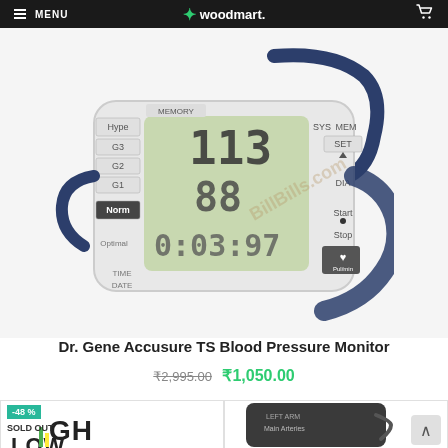MENU | woodmart.
[Figure (photo): Dr. Gene Accusure TS Blood Pressure Monitor device with digital display showing readings 113, 88, and 0:03:97, with labels for MEMORY, SYS, MEM, SET, DIA, Start, Stop buttons, and classification labels Hype, G3, G2, G1, Norm, Optimal, TIME, DATE. Blue arm cuff attached. Watermark reads 'BillBills.com'.]
Dr. Gene Accusure TS Blood Pressure Monitor
₹2,995.00 ₹1,050.00
[Figure (photo): Partially visible blood pressure monitor product card showing -48% discount badge, SOLD OUT label, and display with HIGH and LOW text with green and yellow bars.]
[Figure (photo): Partially visible dark blood pressure arm cuff labeled LEFT ARM and Main Arteries.]